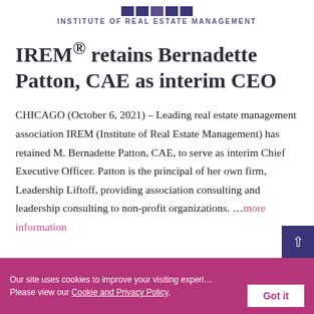INSTITUTE OF REAL ESTATE MANAGEMENT
IREM® retains Bernadette Patton, CAE as interim CEO
CHICAGO (October 6, 2021) – Leading real estate management association IREM (Institute of Real Estate Management) has retained M. Bernadette Patton, CAE, to serve as interim Chief Executive Officer. Patton is the principal of her own firm, Leadership Liftoff, providing association consulting and leadership consulting to non-profit organizations. …more information
Our site uses cookies to improve your visiting experience. Please view our Cookie and Privacy Policy.